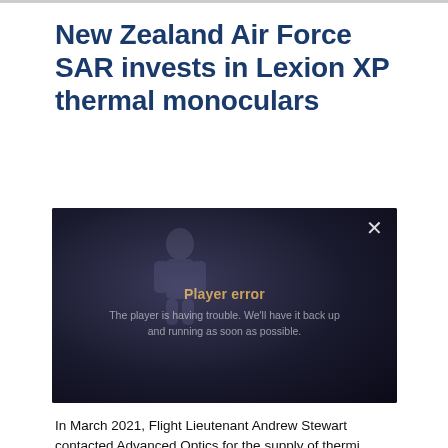New Zealand Air Force SAR invests in Lexion XP thermal monoculars
[Figure (screenshot): Embedded video player showing a dark scene with a human figure silhouette. The player is showing an error message: 'Player error' and 'The player is having trouble. We'll have it back up and running as soon as possible.' A close (X) button is visible in the top right corner.]
In March 2021, Flight Lieutenant Andrew Stewart contacted Advanced Optics for the supply of Lexion...